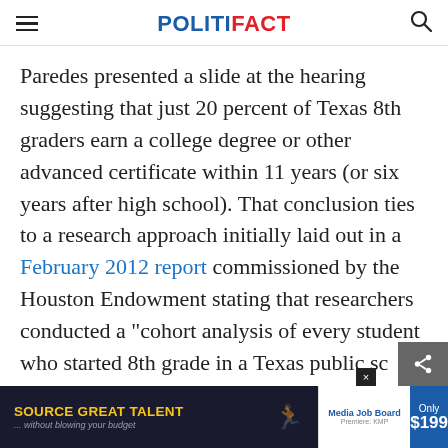POLITIFACT
Paredes presented a slide at the hearing suggesting that just 20 percent of Texas 8th graders earn a college degree or other advanced certificate within 11 years (or six years after high school). That conclusion ties to a research approach initially laid out in a February 2012 report commissioned by the Houston Endowment stating that researchers conducted a "cohort analysis of every student who started 8th grade in a Texas public sc in 19 tru dl
[Figure (other): Advertisement banner: 'SOURCE GREAT TALENT ...without blowing your budget' with Media Job Board logo and 'Only $199' price block]